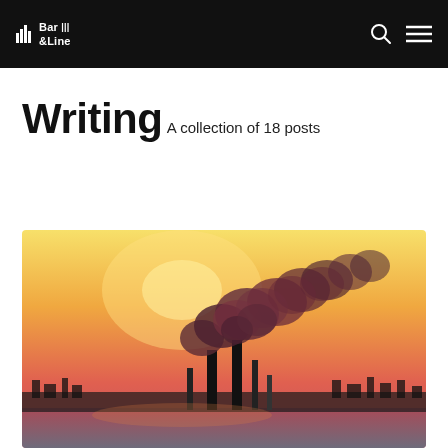Bar & Line
Writing
A collection of 18 posts
[Figure (photo): Industrial smokestacks emitting large plumes of dark smoke against an orange and yellow sunset sky, with a city silhouette on the horizon and water in the foreground.]